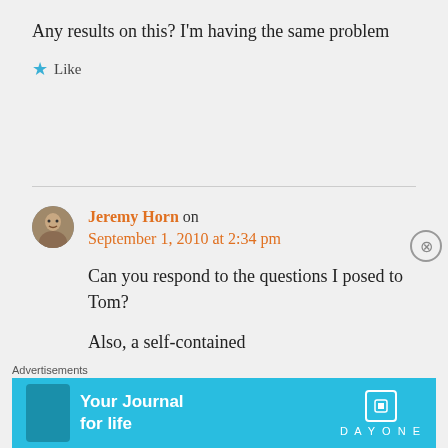Any results on this? I'm having the same problem
★ Like
Jeremy Horn on September 1, 2010 at 2:34 pm
Can you respond to the questions I posed to Tom?
Also, a self-contained
Advertisements
[Figure (screenshot): Day One journal app advertisement banner: cyan/teal background with phone image, text 'Your Journal for life' and DAYONE logo]